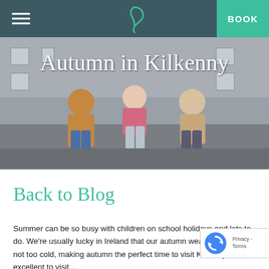BOOK
[Figure (photo): Photo of three people sitting on a stone ledge in front of a historic building, with the title 'Autumn in Kilkenny' overlaid in cursive white text]
Back to Blog
Summer can be so busy with children on school holidays and lots to do. We're usually lucky in Ireland that our autumn weather is cool but not too cold, making autumn the pe... tion to visit Kilkenny is an excellent time to visit...